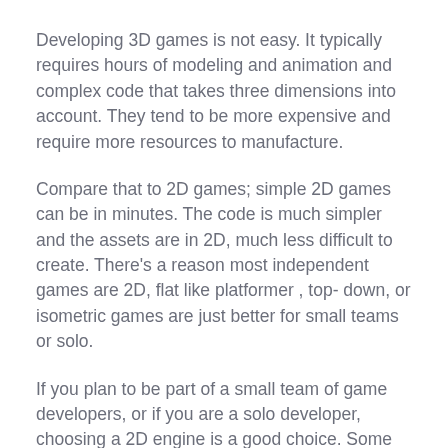Developing 3D games is not easy. It typically requires hours of modeling and animation and complex code that takes three dimensions into account. They tend to be more expensive and require more resources to manufacture.
Compare that to 2D games; simple 2D games can be in minutes. The code is much simpler and the assets are in 2D, much less difficult to create. There's a reason most independent games are 2D, flat like platformer , top- down, or isometric games are just better for small teams or solo.
If you plan to be part of a small team of game developers, or if you are a solo developer, choosing a 2D engine is a good choice. Some small teams and even independent developers make 3D games (it's impossible), however 2D games are easier to work with.
Therefore, here is a list of some of the best 2D engines, free and not. The list is not sorted, not only because "best" is relative, but also because the choice of engine is usually personal to a team or project. As a result, I tried to…